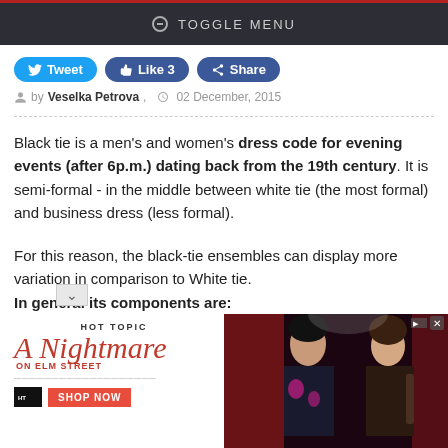TOGGLE MENU
Tweet   Like 3   Share
by Veselka Petrova, 02 December, 2015
Black tie is a men's and women's dress code for evening events (after 6p.m.) dating back from the 19th century. It is semi-formal - in the middle between white tie (the most formal) and business dress (less formal).
For this reason, the black-tie ensembles can display more variation in comparison to White tie.
In general its components are:
- a jacket with silk facings on a shawl collar, peaked lapel or notched lapel;
[Figure (photo): Hot Topic advertisement for A Nightmare on Elm Street merchandise showing two young people in dark clothing against a red curtain background, with SHOP NOW button]